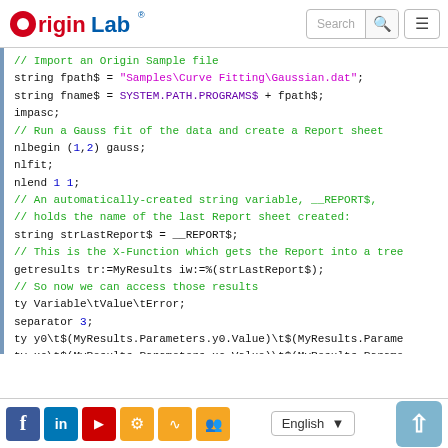OriginLab — navigation header with search
[Figure (screenshot): Code block showing OriginLab script: importing a sample file, running a Gauss fit, accessing report results via getresults X-Function, printing variable values with ty and separator commands.]
Social media icons (Facebook, LinkedIn, YouTube, Gear, RSS, Group), language selector (English), scroll-to-top button